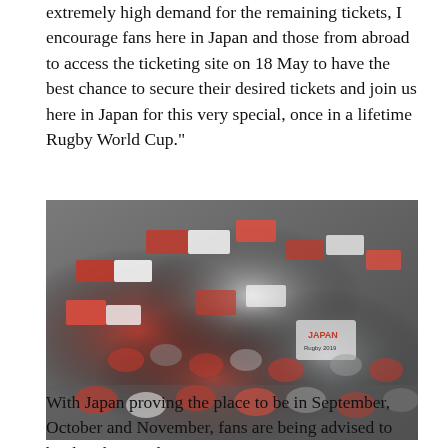extremely high demand for the remaining tickets, I encourage fans here in Japan and those from abroad to access the ticketing site on 18 May to have the best chance to secure their desired tickets and join us here in Japan for this very special, once in a lifetime Rugby World Cup."
[Figure (photo): Crowd of Japan rugby fans waving red and white Japanese flags and wearing Japan Rugby 2019 scarves and jerseys in stadium stands]
With Japan proving the place to be in September, October and November, fans are being advised to book tickets and